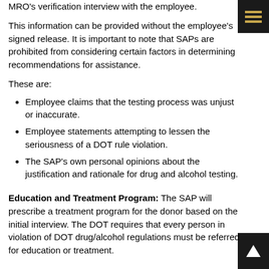MRO's verification interview with the employee.
This information can be provided without the employee's signed release. It is important to note that SAPs are prohibited from considering certain factors in determining recommendations for assistance.
These are:
Employee claims that the testing process was unjust or inaccurate.
Employee statements attempting to lessen the seriousness of a DOT rule violation.
The SAP's own personal opinions about the justification and rationale for drug and alcohol testing.
Education and Treatment Program: The SAP will prescribe a treatment program for the donor based on the initial interview. The DOT requires that every person in violation of DOT drug/alcohol regulations must be referred for education or treatment.